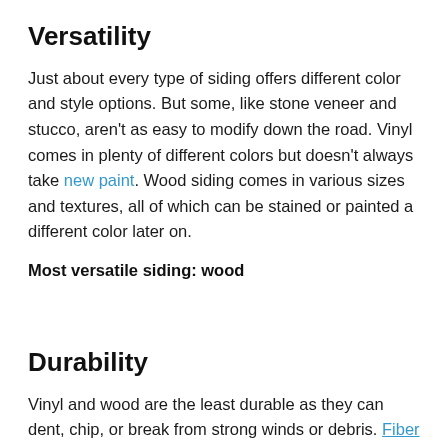Versatility
Just about every type of siding offers different color and style options. But some, like stone veneer and stucco, aren't as easy to modify down the road. Vinyl comes in plenty of different colors but doesn't always take new paint. Wood siding comes in various sizes and textures, all of which can be stained or painted a different color later on.
Most versatile siding: wood
Durability
Vinyl and wood are the least durable as they can dent, chip, or break from strong winds or debris. Fiber cement and stucco are more resistant to nature and even serious catastrophes like fire. But when it